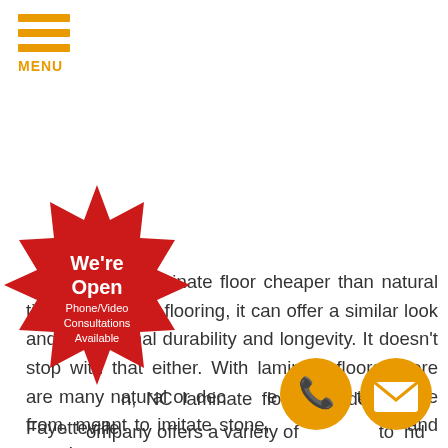[Figure (logo): Orange hamburger menu icon with three horizontal bars and MENU label in orange below]
Not only is a laminate floor cheaper than natural tile or hardwood flooring, it can offer a similar look and exceptional durability and longevity. It doesn't stop with that either. With laminate floors, there are many natural or decorative patterns to choose from, meant to imitate stone, and more!
n, NC laminate floor provider. Fayetteville company offers a variety of to nd patterns to help ensure your new flooring will match with
[Figure (illustration): Red starburst badge with text: We're Open Phone/Video Consultations Available]
[Figure (illustration): Orange circle with phone handset icon]
[Figure (illustration): Orange circle with envelope/email icon]